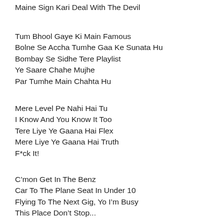Maine Sign Kari Deal With The Devil
Tum Bhool Gaye Ki Main Famous
Bolne Se Accha Tumhe Gaa Ke Sunata Hu
Bombay Se Sidhe Tere Playlist
Ye Saare Chahe Mujhe
Par Tumhe Main Chahta Hu
Mere Level Pe Nahi Hai Tu
I Know And You Know It Too
Tere Liye Ye Gaana Hai Flex
Mere Liye Ye Gaana Hai Truth
F*ck It!
C’mon Get In The Benz
Car To The Plane Seat In Under 10
Flying To The Next Gig, Yo I’m Busy
This Place Don’t Stop...